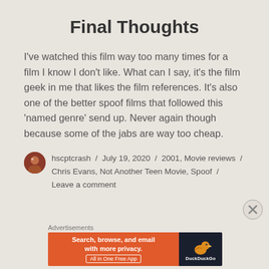Final Thoughts
I've watched this film way too many times for a film I know I don't like. What can I say, it's the film geek in me that likes the film references. It's also one of the better spoof films that followed this 'named genre' send up. Never again though because some of the jabs are way too cheap.
hscptcrash / July 19, 2020 / 2001, Movie reviews / Chris Evans, Not Another Teen Movie, Spoof / Leave a comment
Advertisements
[Figure (screenshot): DuckDuckGo advertisement banner: 'Search, browse, and email with more privacy. All in One Free App' with DuckDuckGo logo on dark background]